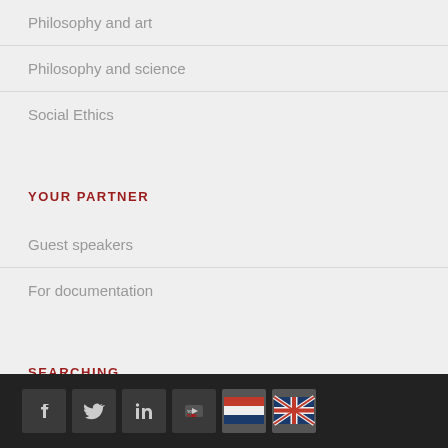Philosophy and art
Philosophy and science
Social Ethics
YOUR PARTNER
Guest speakers
For documentation
SEARCHING
Search
[Figure (infographic): Footer bar with social media icons: Facebook, Twitter, LinkedIn, YouTube, and two flag icons (Netherlands and UK)]